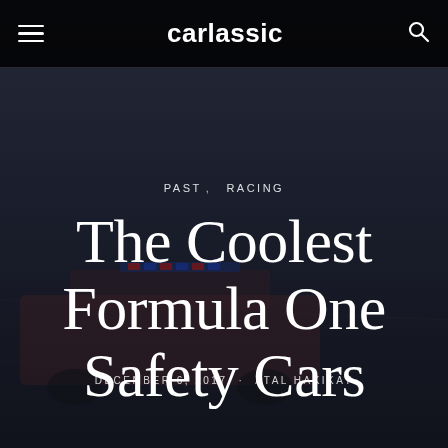carlassic
[Figure (photo): Dark atmospheric background photo of a racing car (appears to be a pink/red sports car) on a race track, used as a hero background image for an article about Formula One safety cars.]
PAST,   RACING
The Coolest Formula One Safety Cars
DECEMBER 6, 2017  ·  ATAL HAKIKAT